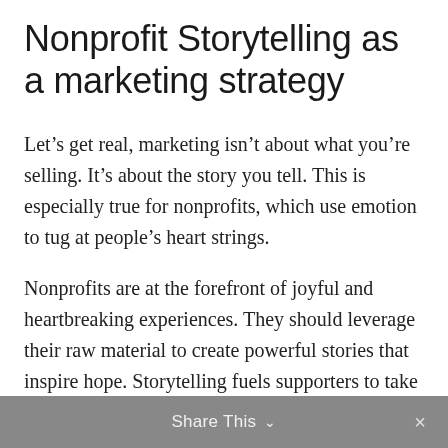Nonprofit Storytelling as a marketing strategy
Let’s get real, marketing isn’t about what you’re selling. It’s about the story you tell. This is especially true for nonprofits, which use emotion to tug at people’s heart strings.
Nonprofits are at the forefront of joyful and heartbreaking experiences. They should leverage their raw material to create powerful stories that inspire hope. Storytelling fuels supporters to take action, such as donating or volunteering.
Share This ⌄  ×